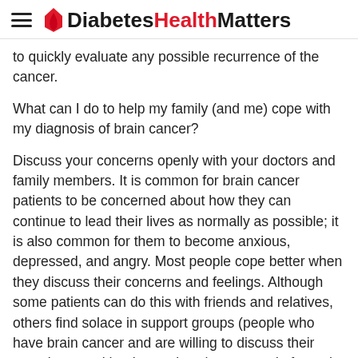DiabetesHealthMatters
to quickly evaluate any possible recurrence of the cancer.
What can I do to help my family (and me) cope with my diagnosis of brain cancer?
Discuss your concerns openly with your doctors and family members. It is common for brain cancer patients to be concerned about how they can continue to lead their lives as normally as possible; it is also common for them to become anxious, depressed, and angry. Most people cope better when they discuss their concerns and feelings. Although some patients can do this with friends and relatives, others find solace in support groups (people who have brain cancer and are willing to discuss their experiences with other patients) composed of people who have experiences and similar situations and feelings. The